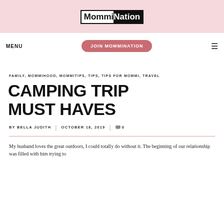MommiNation
MENU  JOIN MOMMINATION
FAMILY, MOMMIHOOD, MOMMITIPS, TIPS, TIPS FOR MOMMI, TRAVEL
CAMPING TRIP MUST HAVES
BY BELLA JUDITH  |  OCTOBER 18, 2019  |  0
My husband loves the great outdoors, I could totally do without it. The beginning of our relationship was filled with him trying to